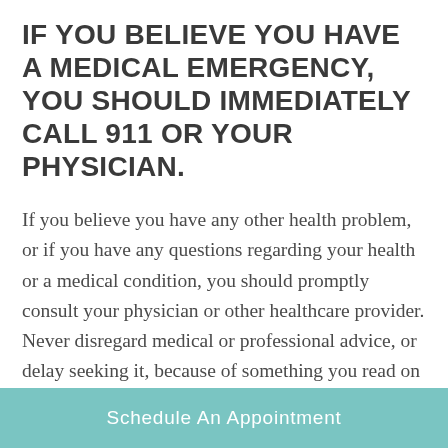IF YOU BELIEVE YOU HAVE A MEDICAL EMERGENCY, YOU SHOULD IMMEDIATELY CALL 911 OR YOUR PHYSICIAN.
If you believe you have any other health problem, or if you have any questions regarding your health or a medical condition, you should promptly consult your physician or other healthcare provider. Never disregard medical or professional advice, or delay seeking it, because of something you read on this site or a linked website. Never rely on information on this site in place of
Schedule An Appointment